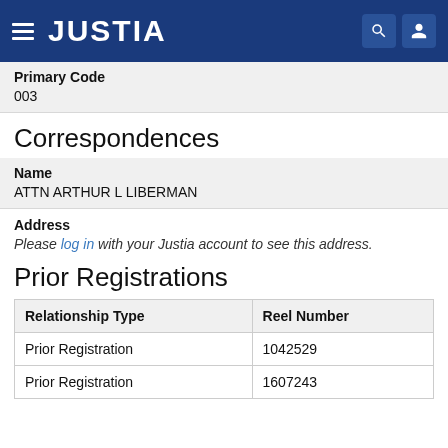JUSTIA
Primary Code
003
Correspondences
Name
ATTN ARTHUR L LIBERMAN
Address
Please log in with your Justia account to see this address.
Prior Registrations
| Relationship Type | Reel Number |
| --- | --- |
| Prior Registration | 1042529 |
| Prior Registration | 1607243 |